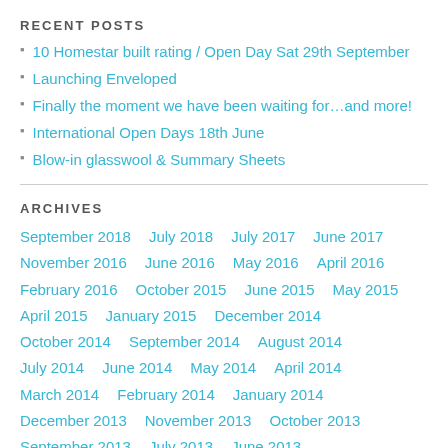RECENT POSTS
10 Homestar built rating / Open Day Sat 29th September
Launching Enveloped
Finally the moment we have been waiting for…and more!
International Open Days 18th June
Blow-in glasswool & Summary Sheets
ARCHIVES
September 2018  July 2018  July 2017  June 2017  November 2016  June 2016  May 2016  April 2016  February 2016  October 2015  June 2015  May 2015  April 2015  January 2015  December 2014  October 2014  September 2014  August 2014  July 2014  June 2014  May 2014  April 2014  March 2014  February 2014  January 2014  December 2013  November 2013  October 2013  September 2013  July 2013  June 2013